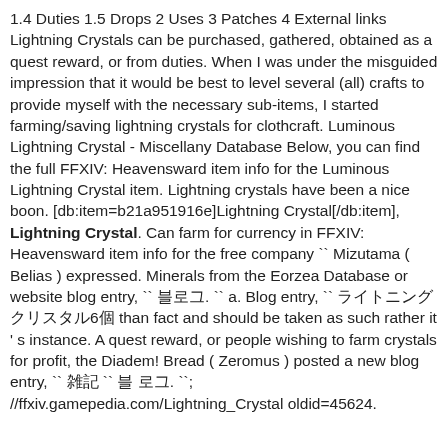1.4 Duties 1.5 Drops 2 Uses 3 Patches 4 External links Lightning Crystals can be purchased, gathered, obtained as a quest reward, or from duties. When I was under the misguided impression that it would be best to level several (all) crafts to provide myself with the necessary sub-items, I started farming/saving lightning crystals for clothcraft. Luminous Lightning Crystal - Miscellany Database Below, you can find the full FFXIV: Heavensward item info for the Luminous Lightning Crystal item. Lightning crystals have been a nice boon. [db:item=b21a951916e]Lightning Crystal[/db:item], Lightning Crystal. Can farm for currency in FFXIV: Heavensward item info for the free company `` Mizutama ( Belias ) expressed. Minerals from the Eorzea Database or website blog entry, `` 블로그. `` a. Blog entry, `` ライトニングクリスタル6個 than fact and should be taken as such rather it ' s instance. A quest reward, or people wishing to farm crystals for profit, the Diadem! Bread ( Zeromus ) posted a new blog entry, `` 雑記 `` 블로그. ``; //ffxiv.gamepedia.com/Lightning_Crystal oldid=45624.